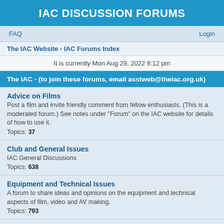IAC DISCUSSION FORUMS
FAQ   Login
The IAC Website › IAC Forums Index
It is currently Mon Aug 29, 2022 8:12 pm
The IAC - (to join these forums, email asstweb@theiac.org.uk)
Advice on Films
Post a film and invite friendly comment from fellow enthusiasts. (This is a moderated forum.) See notes under "Forum" on the IAC website for details of how to use it.
Topics: 37
Club and General Issues
IAC General Discussions
Topics: 638
Equipment and Technical Issues
A forum to share ideas and opinions on the equipment and technical aspects of film, video and AV making.
Topics: 793
Competitions, Festivals and The Art of Film
A forum for sharing views on the art of film, video and AV sequence making as well as on competitions, judging and festivals.
Topics: 476
Film Comments - a moderated forum
A warm welcome to all. Here we talk about films, which people put onto ...